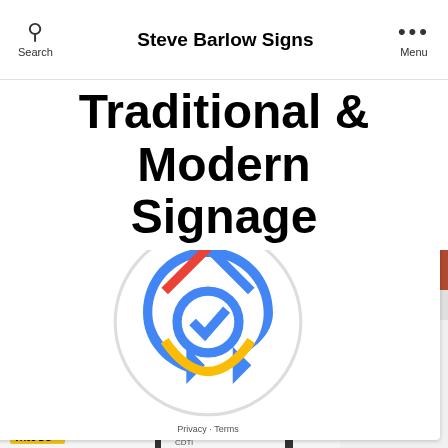Steve Barlow Signs
Traditional & Modern Signage
[Figure (photo): A white van with Steve Barlow Signs branding. The van displays the company name and logo in green and grey, with text reading 'Traditional & Modern Signage From Design to Installation' and a list of services including vinyl lettering, vehicles & shop fronts, boards & banners, traditional sign writing, gold leaf work. Registration plate VX65 DC visible.]